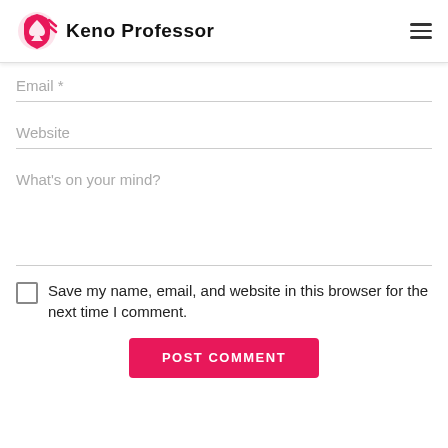Keno Professor
Email *
Website
What's on your mind?
Save my name, email, and website in this browser for the next time I comment.
POST COMMENT